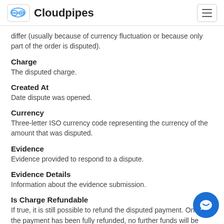Cloudpipes
differ (usually because of currency fluctuation or because only part of the order is disputed).
Charge
The disputed charge.
Created At
Date dispute was opened.
Currency
Three-letter ISO currency code representing the currency of the amount that was disputed.
Evidence
Evidence provided to respond to a dispute.
Evidence Details
Information about the evidence submission.
Is Charge Refundable
If true, it is still possible to refund the disputed payment. Once the payment has been fully refunded, no further funds will be withdrawn from your Stripe account as a result of this dispute.
Livemode